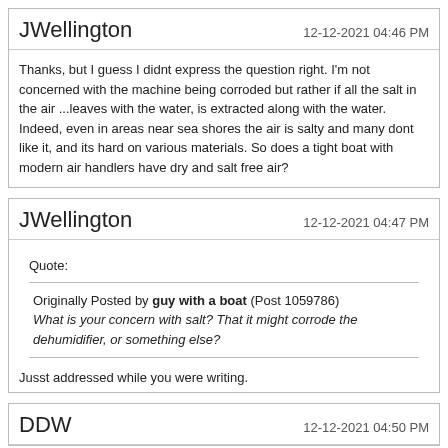JWellington
12-12-2021 04:46 PM
Thanks, but I guess I didnt express the question right. I'm not concerned with the machine being corroded but rather if all the salt in the air ...leaves with the water, is extracted along with the water. Indeed, even in areas near sea shores the air is salty and many dont like it, and its hard on various materials. So does a tight boat with modern air handlers have dry and salt free air?
JWellington
12-12-2021 04:47 PM
Quote:
Originally Posted by guy with a boat (Post 1059786) What is your concern with salt? That it might corrode the dehumidifier, or something else?
Jusst addressed while you were writing.
DDW
12-12-2021 04:50 PM